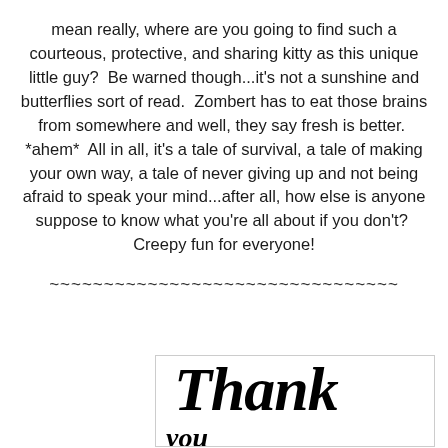mean really, where are you going to find such a courteous, protective, and sharing kitty as this unique little guy?  Be warned though...it's not a sunshine and butterflies sort of read.  Zombert has to eat those brains from somewhere and well, they say fresh is better.  *ahem*  All in all, it's a tale of survival, a tale of making your own way, a tale of never giving up and not being afraid to speak your mind...after all, how else is anyone suppose to know what you're all about if you don't?  Creepy fun for everyone!
~~~~~~~~~~~~~~~~~~~~~~~~~~~~~~~~
[Figure (other): A decorative box with cursive/script text reading 'Thank' in large ornate font, with the beginning of more script text below it, partially cut off.]